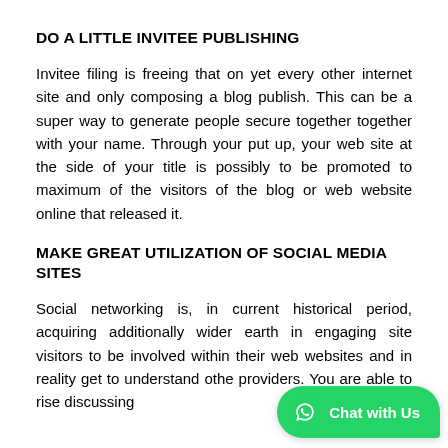DO A LITTLE INVITEE PUBLISHING
Invitee filing is freeing that on yet every other internet site and only composing a blog publish. This can be a super way to generate people secure together together with your name. Through your put up, your web site at the side of your title is possibly to be promoted to maximum of the visitors of the blog or web website online that released it.
MAKE GREAT UTILIZATION OF SOCIAL MEDIA SITES
Social networking is, in current historical period, acquiring additionally wider earth in engaging site visitors to be involved within their web websites and in reality get to understand othe providers. You are able to rise discussing
[Figure (other): WhatsApp Chat with Us button/bubble in green at bottom-right corner]